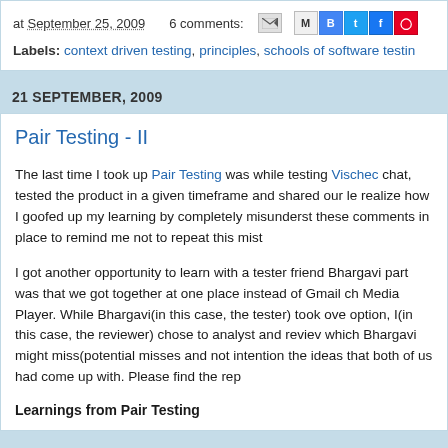at September 25, 2009   6 comments:
Labels: context driven testing, principles, schools of software testin
21 SEPTEMBER, 2009
Pair Testing - II
The last time I took up Pair Testing was while testing Vischec chat, tested the product in a given timeframe and shared our le realize how I goofed up my learning by completely misunderst these comments in place to remind me not to repeat this mist
I got another opportunity to learn with a tester friend Bhargavi part was that we got together at one place instead of Gmail ch Media Player. While Bhargavi(in this case, the tester) took ove option, I(in this case, the reviewer) chose to analyst and reviev which Bhargavi might miss(potential misses and not intention the ideas that both of us had come up with. Please find the rep
Learnings from Pair Testing